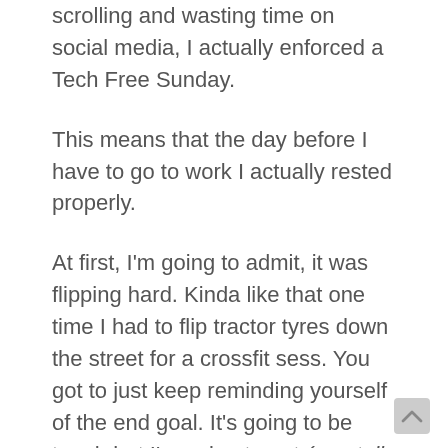scrolling and wasting time on social media, I actually enforced a Tech Free Sunday.
This means that the day before I have to go to work I actually rested properly.
At first, I'm going to admit, it was flipping hard. Kinda like that one time I had to flip tractor tyres down the street for a crossfit sess. You got to just keep reminding yourself of the end goal. It's going to be tough but I'm going to get (mentally and most likely physically) fit.
Sometimes it's about having to just keep flipping the tyre over. You know, put the device out of